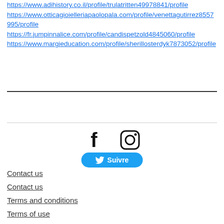https://www.adihistory.co.il/profile/trulatritten49978841/profile
https://www.otticagioielleriapaolopala.com/profile/venettagutirrez8557995/profile
https://fr.jumpinnalice.com/profile/candispetzold4845060/profile
https://www.margieducation.com/profile/sherillosterdyk7873052/profile
[Figure (infographic): Social media icons: Facebook (f) and Instagram camera icon, plus a Twitter 'Suivre' (Follow) button]
Contact us
Contact us
Terms and conditions
Terms of use